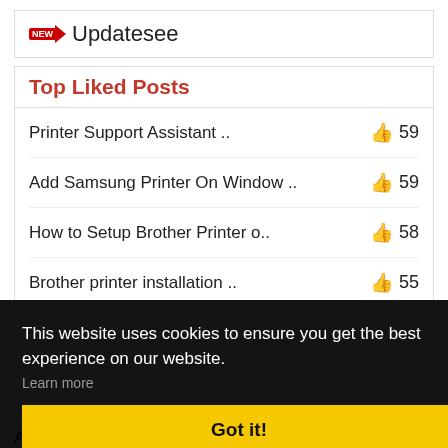Updatesee
Top Liked Posts
Printer Support Assistant .. 👍 59
Add Samsung Printer On Window .. 👍 59
How to Setup Brother Printer o.. 👍 58
Brother printer installation .. 👍 55
This website uses cookies to ensure you get the best experience on our website. Learn more
Got it!
Agriculture